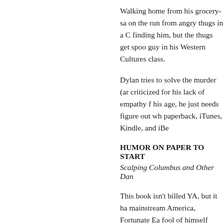Walking home from his grocery-sa on the run from angry thugs in a C finding him, but the thugs get spoo guy in his Western Cultures class.
Dylan tries to solve the murder (ar criticized for his lack of empathy f his age, he just needs figure out wh paperback, iTunes, Kindle, and iBe
HUMOR ON PAPER TO START
Scalping Columbus and Other Dan
This book isn't billed YA, but it ha mainstream America, Fortunate Ea fool of himself trying to fit in. The airplane to “discover” Italy and “c
Older people said, “How do you k